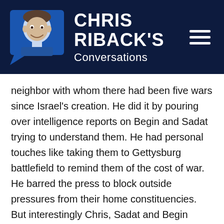[Figure (logo): Chris Riback's Conversations logo with illustrated portrait of a man in blue speech bubble graphic and bold white text on dark navy background, with hamburger menu icon on right]
neighbor with whom there had been five wars since Israel's creation. He did it by pouring over intelligence reports on Begin and Sadat trying to understand them. He had personal touches like taking them to Gettysburg battlefield to remind them of the cost of war. He barred the press to block outside pressures from their home constituencies. But interestingly Chris, Sadat and Begin almost never met in the same room. They were like two scorpions. So Carter had to negotiate separately with them and with their staffs through 13 agonizing days and nights and more than 20 drafts that he personally